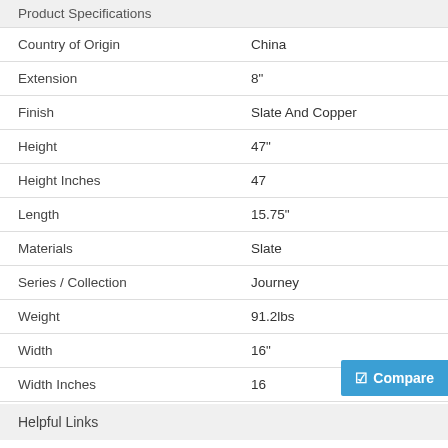Product Specifications
|  |  |
| --- | --- |
| Country of Origin | China |
| Extension | 8" |
| Finish | Slate And Copper |
| Height | 47" |
| Height Inches | 47 |
| Length | 15.75" |
| Materials | Slate |
| Series / Collection | Journey |
| Weight | 91.2lbs |
| Width | 16" |
| Width Inches | 16 |
Helpful Links